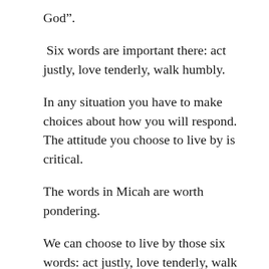God”.
Six words are important there: act justly, love tenderly, walk humbly.
In any situation you have to make choices about how you will respond. The attitude you choose to live by is critical.
The words in Micah are worth pondering.
We can choose to live by those six words: act justly, love tenderly, walk humbly.
I will take these words in two’s to offer reflection.